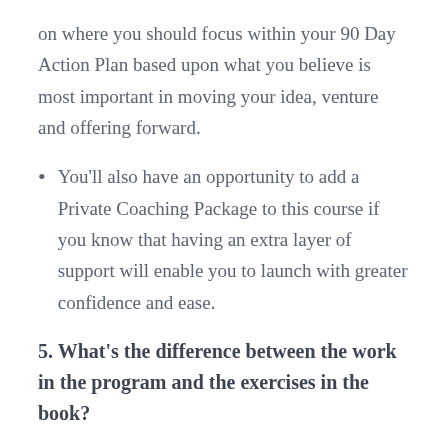on where you should focus within your 90 Day Action Plan based upon what you believe is most important in moving your idea, venture and offering forward.
You'll also have an opportunity to add a Private Coaching Package to this course if you know that having an extra layer of support will enable you to launch with greater confidence and ease.
5. What's the difference between the work in the program and the exercises in the book?